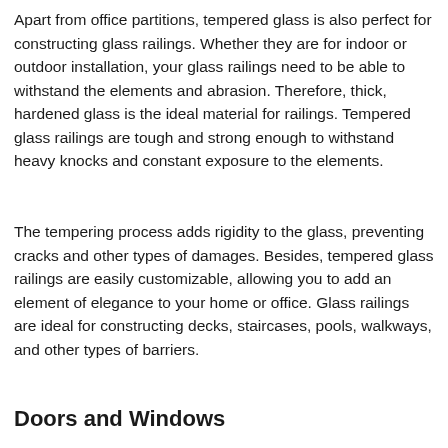Apart from office partitions, tempered glass is also perfect for constructing glass railings. Whether they are for indoor or outdoor installation, your glass railings need to be able to withstand the elements and abrasion. Therefore, thick, hardened glass is the ideal material for railings. Tempered glass railings are tough and strong enough to withstand heavy knocks and constant exposure to the elements.
The tempering process adds rigidity to the glass, preventing cracks and other types of damages. Besides, tempered glass railings are easily customizable, allowing you to add an element of elegance to your home or office. Glass railings are ideal for constructing decks, staircases, pools, walkways, and other types of barriers.
Doors and Windows